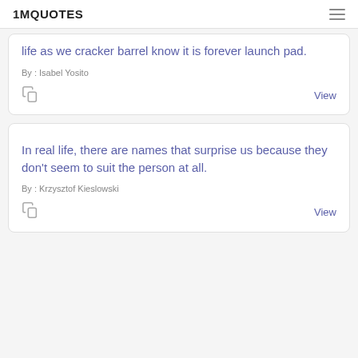1MQUOTES
life as we cracker barrel know it is forever launch pad.
By : Isabel Yosito
View
In real life, there are names that surprise us because they don't seem to suit the person at all.
By : Krzysztof Kieslowski
View